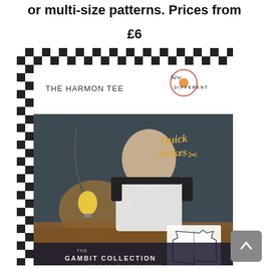or multi-size patterns. Prices from
£6
[Figure (photo): Product listing image showing 'The Harmon Tee' sewing pattern from Sew Different, part of The Gambit Collection. The cover features a woman sitting at a chess board, wearing a white and black tee shirt. The pattern package has a black and white checkered border and includes the text 'Quick Makes', 'The Harmon Tee', 'Sew Different', and 'The Gambit Collection'. A schematic drawing of the tee is shown in the lower right corner.]